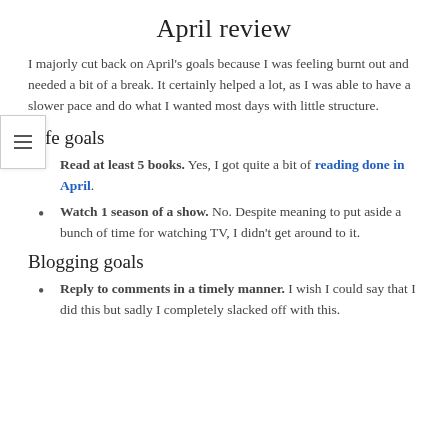April review
I majorly cut back on April's goals because I was feeling burnt out and needed a bit of a break. It certainly helped a lot, as I was able to have a slower pace and do what I wanted most days with little structure.
Life goals
Read at least 5 books. Yes, I got quite a bit of reading done in April.
Watch 1 season of a show. No. Despite meaning to put aside a bunch of time for watching TV, I didn't get around to it.
Blogging goals
Reply to comments in a timely manner. I wish I could say that I did this but sadly I completely slacked off with this.